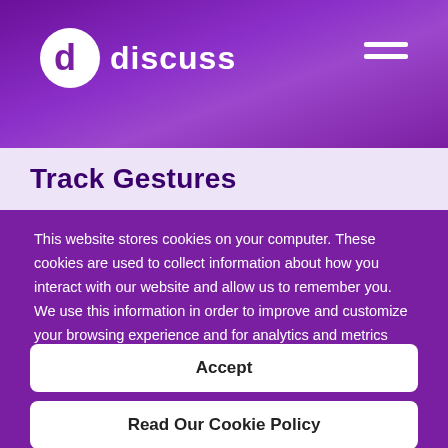discuss
Track Gestures
This website stores cookies on your computer. These cookies are used to collect information about how you interact with our website and allow us to remember you. We use this information in order to improve and customize your browsing experience and for analytics and metrics about our visitors both on this website and other media.
Accept
Read Our Cookie Policy
Cookies Settings